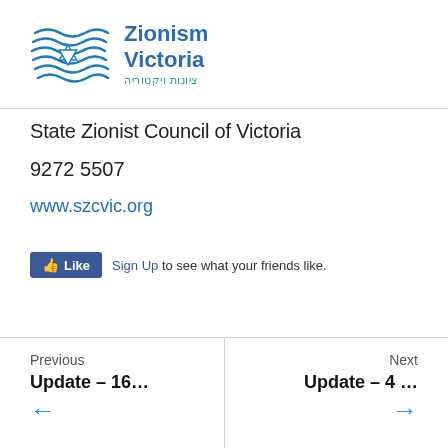[Figure (logo): Zionism Victoria logo with wave/star graphic and Hebrew text]
State Zionist Council of Victoria
9272 5507
www.szcvic.org
[Figure (screenshot): Facebook Like button widget with Sign Up text]
Previous
Update – 16…
Next
Update – 4 …